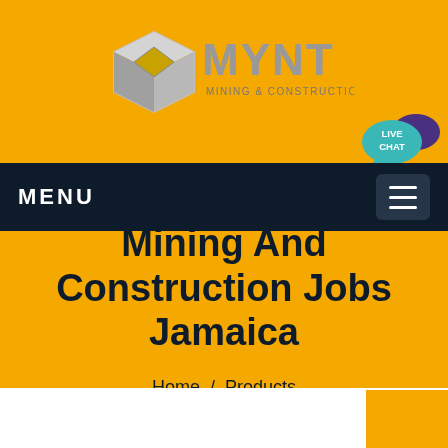[Figure (logo): MYNT Mining & Construction logo with silver diamond/cube shape and metallic MYNT text with 'MINING & CONSTRUCTION' subtitle]
MENU
Mining And Construction Jobs Jamaica
Home / Products